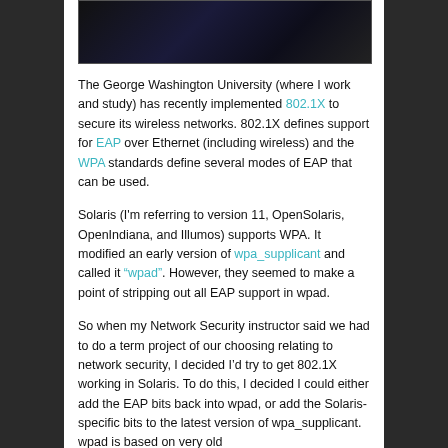[Figure (photo): Dark image at the top of the page, appears to be a photo with dark blue/black tones]
The George Washington University (where I work and study) has recently implemented 802.1X to secure its wireless networks. 802.1X defines support for EAP over Ethernet (including wireless) and the WPA standards define several modes of EAP that can be used.
Solaris (I'm referring to version 11, OpenSolaris, OpenIndiana, and Illumos) supports WPA. It modified an early version of wpa_supplicant and called it “wpad”. However, they seemed to make a point of stripping out all EAP support in wpad.
So when my Network Security instructor said we had to do a term project of our choosing relating to network security, I decided I’d try to get 802.1X working in Solaris. To do this, I decided I could either add the EAP bits back into wpad, or add the Solaris-specific bits to the latest version of wpa_supplicant. wpad is based on very old